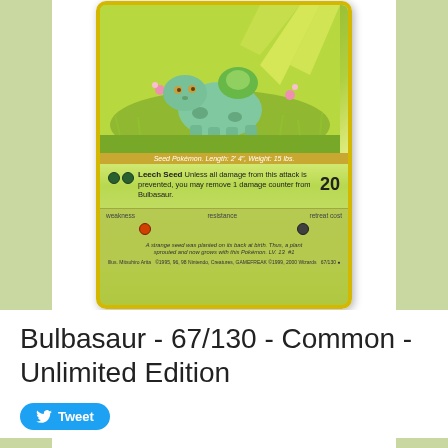[Figure (illustration): Pokémon Trading Card — Bulbasaur 67/130 Common Unlimited Edition. Card shows Bulbasaur artwork with green/yellow background, Leech Seed attack for 20 damage, weakness to fire, and flavor text about a seed planted on its back at birth.]
Bulbasaur - 67/130 - Common - Unlimited Edition
Tweet